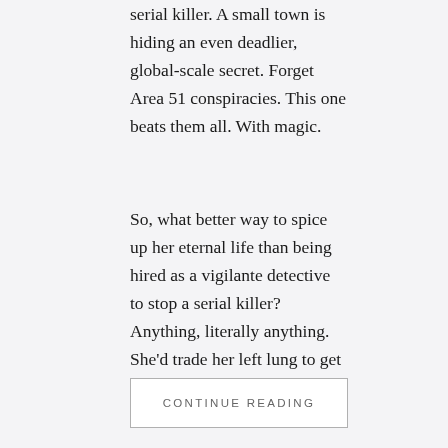serial killer. A small town is hiding an even deadlier, global-scale secret. Forget Area 51 conspiracies. This one beats them all. With magic.
So, what better way to spice up her eternal life than being hired as a vigilante detective to stop a serial killer? Anything, literally anything. She'd trade her left lung to get out of this. Or, perhaps, somebody else's.
CONTINUE READING
BLOG TOUR, BULLY ROMANCE, HIGH SCHOOL ROMANCE, LGBTQ+, NA BULLY ROMANCE
Blog Tour: Bully King by